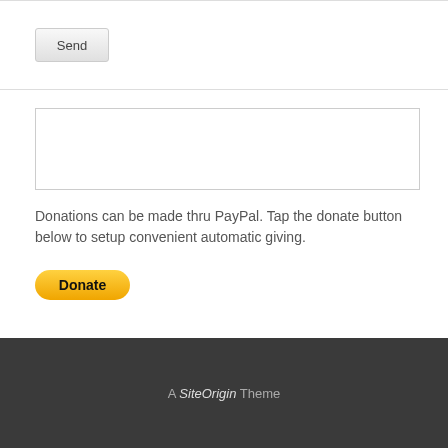[Figure (screenshot): Send button — a rounded rectangle button with label 'Send']
[Figure (screenshot): Empty text input box with border]
Donations can be made thru PayPal. Tap the donate button below to setup convenient automatic giving.
[Figure (other): PayPal Donate button — yellow/gold pill-shaped button with bold text 'Donate']
A SiteOrigin Theme